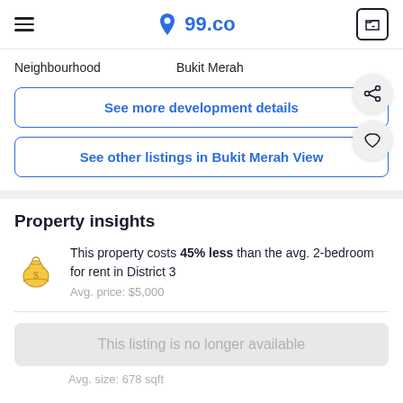99.co
Neighbourhood    Bukit Merah
See more development details
See other listings in Bukit Merah View
Property insights
This property costs 45% less than the avg. 2-bedroom for rent in District 3
Avg. price: $5,000
This listing is no longer available
Avg. size: 678 sqft